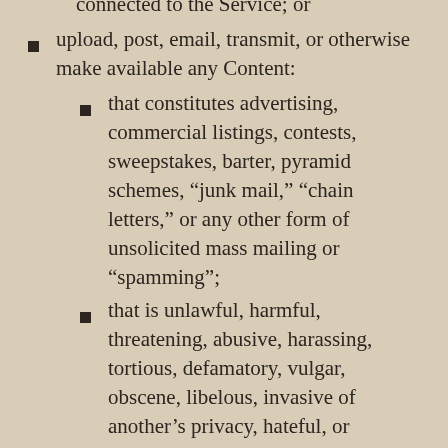connected to the Service; or
upload, post, email, transmit, or otherwise make available any Content:
that constitutes advertising, commercial listings, contests, sweepstakes, barter, pyramid schemes, “junk mail,” “chain letters,” or any other form of unsolicited mass mailing or “spamming”;
that is unlawful, harmful, threatening, abusive, harassing, tortious, defamatory, vulgar, obscene, libelous, invasive of another’s privacy, hateful, or racially, ethnically, or otherwise objectionable;